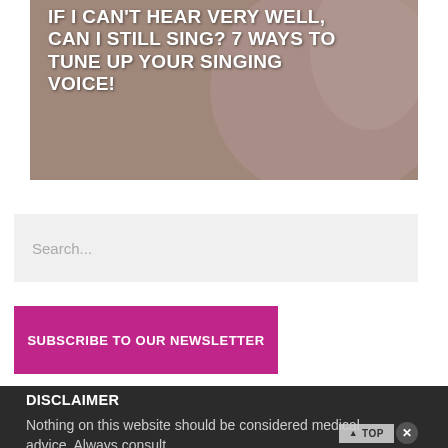[Figure (photo): A person in a pink blouse with hand near face, background blur, with overlaid white bold text title about singing and hearing]
IF I CAN'T HEAR VERY WELL, CAN I STILL SING? 7 WAYS TO TUNE UP YOUR SINGING VOICE!
Search...
SUBSCRIBE TO OUR NEWSLETTER
DISCLAIMER
Nothing on this website should be considered medical advice. Always consult